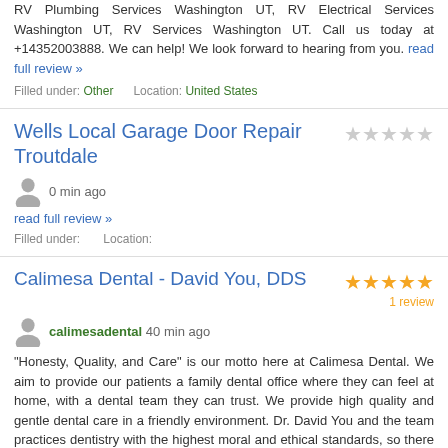RV Plumbing Services Washington UT, RV Electrical Services Washington UT, RV Services Washington UT. Call us today at +14352003888. We can help! We look forward to hearing from you. read full review »
Filled under: Other   Location: United States
Wells Local Garage Door Repair Troutdale
0 min ago
read full review »
Filled under:    Location:
Calimesa Dental - David You, DDS
1 review
calimesadental 40 min ago
"Honesty, Quality, and Care" is our motto here at Calimesa Dental. We aim to provide our patients a family dental office where they can feel at home, with a dental team they can trust. We provide high quality and gentle dental care in a friendly environment. Dr. David You and the team practices dentistry with the highest moral and ethical standards, so there is no need to question whether we have your best interest in mind. read full review »
Filled under: Other   Location: United States